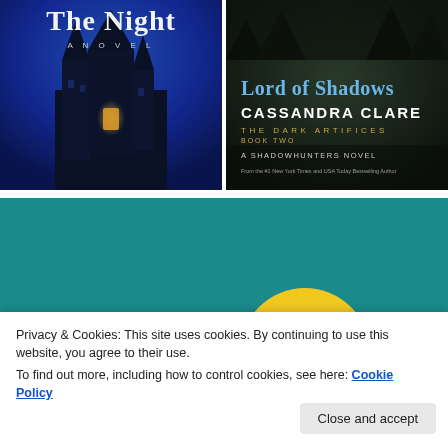[Figure (photo): Book cover: 'The Night' – A Novel. Dark blue gothic castle/building at night with a lit window.]
[Figure (photo): Book cover: 'Lord of Shadows' by Cassandra Clare – The Dark Artifices Book Two. A Shadowhunters Novel. Dark moody forest background.]
[Figure (photo): Book cover: Teal/turquoise background with a large yellow circle (sun or moon). Partially visible, cropped at bottom.]
Privacy & Cookies: This site uses cookies. By continuing to use this website, you agree to their use.
To find out more, including how to control cookies, see here: Cookie Policy
Close and accept